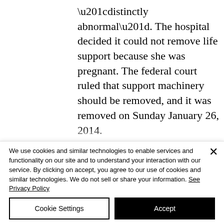“distinctly abnormal”. The hospital decided it could not remove life support because she was pregnant. The federal court ruled that support machinery should be removed, and it was removed on Sunday January 26, 2014. The Texas Advance Directives Act requires that “A person may not withdraw or withhold life-sustaining treatment… from a
We use cookies and similar technologies to enable services and functionality on our site and to understand your interaction with our service. By clicking on accept, you agree to our use of cookies and similar technologies. We do not sell or share your information. See Privacy Policy